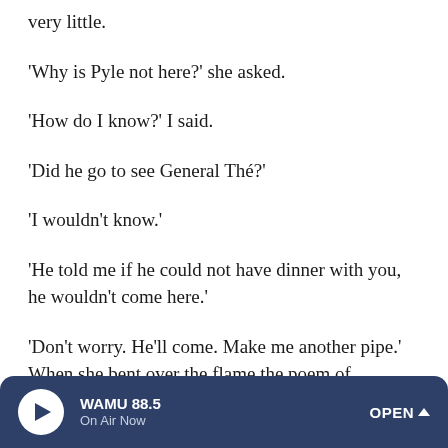very little.
'Why is Pyle not here?' she asked.
'How do I know?' I said.
'Did he go to see General Thé?'
'I wouldn't know.'
'He told me if he could not have dinner with you, he wouldn't come here.'
'Don't worry. He'll come. Make me another pipe.' When she bent over the flame the poem of Baudelaire's came into my mind: 'Mon enfant, ma soeur . . .' How did it go on?
WAMU 88.5 On Air Now OPEN